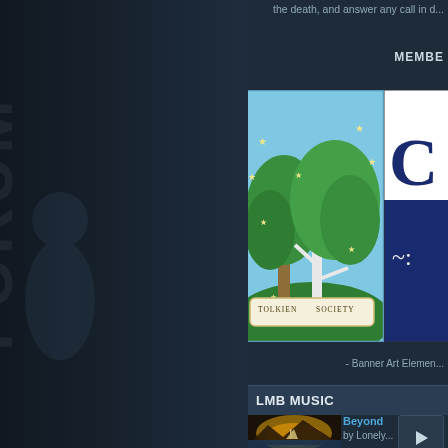the death, and answer any call in d...
MEMBE...
[Figure (logo): Tolkien Society logo with two green trees and stars on a blue background, with banner reading TOLKIEN SOCIETY]
[Figure (logo): Partial second logo/banner with dark blue background and white stylized letter]
- Banner Art Elemen...
LMB MUSIC
[Figure (illustration): Album art for 'The Lonely Mountain Band - Beyond Our Version Stone' showing a ship on glowing waters with mountains in background]
Beyond...
by Lonely...